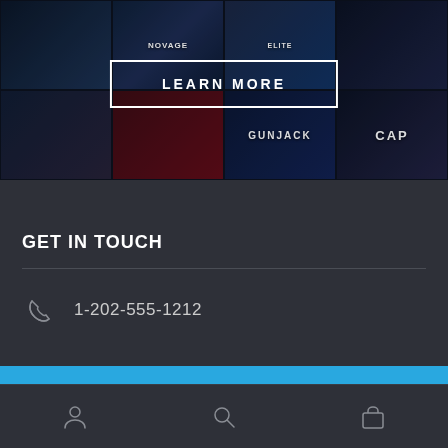[Figure (screenshot): Hero banner showing a grid of game cover art thumbnails in dark blues, reds, and blacks — titles include Novage, Elite, Gunjack, Pro Cap, and others.]
LEARN MORE
GET IN TOUCH
1-202-555-1212
This is a demo store for demonstration purposes — no orders shall be fulfilled.